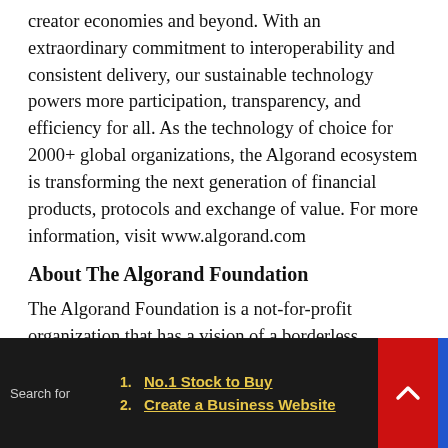creator economies and beyond. With an extraordinary commitment to interoperability and consistent delivery, our sustainable technology powers more participation, transparency, and efficiency for all. As the technology of choice for 2000+ global organizations, the Algorand ecosystem is transforming the next generation of financial products, protocols and exchange of value. For more information, visit www.algorand.com
About The Algorand Foundation
The Algorand Foundation is a not-for-profit organization that has a vision of a borderless, frictionless economy built on public, decentralized
Search for   1. No.1 Stock to Buy   2. Create a Business Website